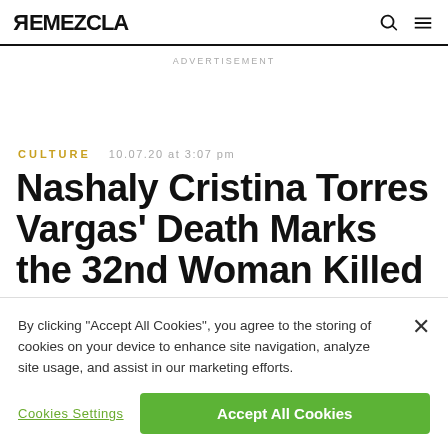REMEZCLA
ADVERTISEMENT
CULTURE  10.07.20 at 3:07 pm
Nashaly Cristina Torres Vargas' Death Marks the 32nd Woman Killed In Puerto Rico This Year
By clicking “Accept All Cookies”, you agree to the storing of cookies on your device to enhance site navigation, analyze site usage, and assist in our marketing efforts.
Cookies Settings
Accept All Cookies